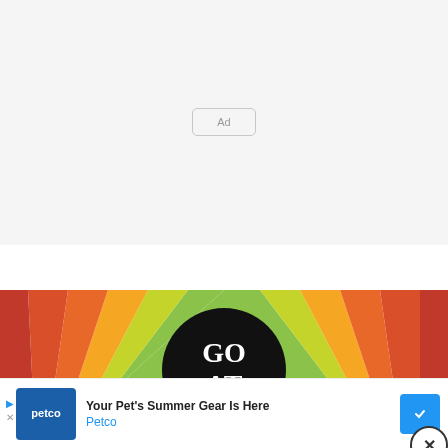[Figure (other): Gray placeholder ad box with 'Ad' label in center]
[Figure (illustration): Colorful retro sunburst banner with stripes in green, orange, red, pink colors and a black circle containing Gothic text 'GO AT' in white. A wavy black line runs across the bottom.]
[Figure (other): Petco advertisement banner: Petco blue logo on left, text 'Your Pet's Summer Gear Is Here' with 'Petco' in blue, blue arrow icon on right. Navigation arrows on far left.]